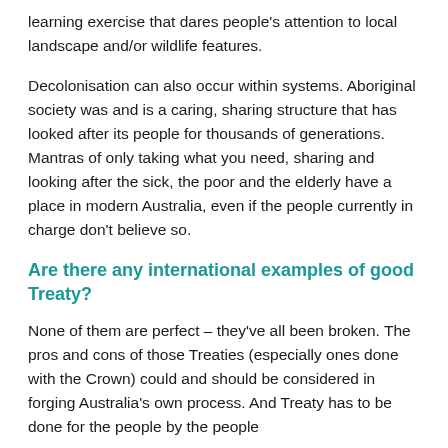learning exercise that dares people's attention to local landscape and/or wildlife features.
Decolonisation can also occur within systems. Aboriginal society was and is a caring, sharing structure that has looked after its people for thousands of generations. Mantras of only taking what you need, sharing and looking after the sick, the poor and the elderly have a place in modern Australia, even if the people currently in charge don't believe so.
Are there any international examples of good Treaty?
None of them are perfect – they've all been broken. The pros and cons of those Treaties (especially ones done with the Crown) could and should be considered in forging Australia's own process. And Treaty has to be done for the people by the people